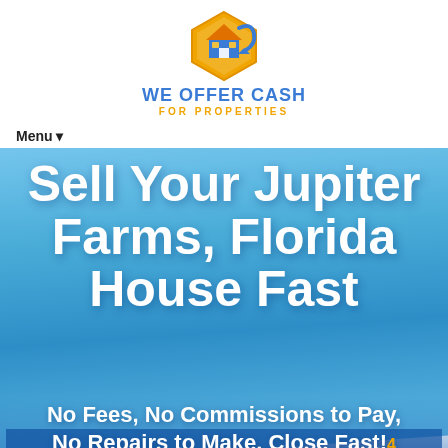[Figure (logo): We Offer Cash For Properties logo — hexagonal house icon in orange and blue with a swoosh, brand name in bold blue uppercase and subtitle in gold uppercase]
Menu ▾
Sell Your Jupiter Farms, Florida House Fast
No Fees, No Commissions to Pay, No Repairs to Make, Close Fast!